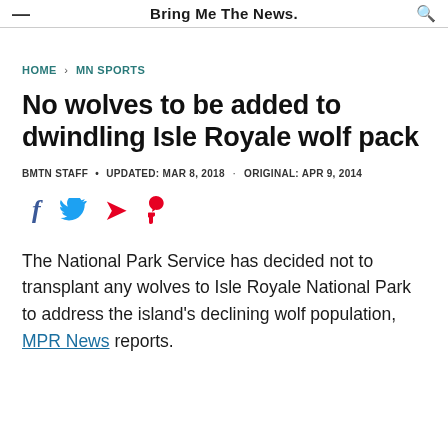Bring Me The News.
HOME > MN SPORTS
No wolves to be added to dwindling Isle Royale wolf pack
BMTN STAFF • UPDATED: MAR 8, 2018 · ORIGINAL: APR 9, 2014
[Figure (other): Social sharing icons: Facebook, Twitter, Pinterest]
The National Park Service has decided not to transplant any wolves to Isle Royale National Park to address the island's declining wolf population, MPR News reports.